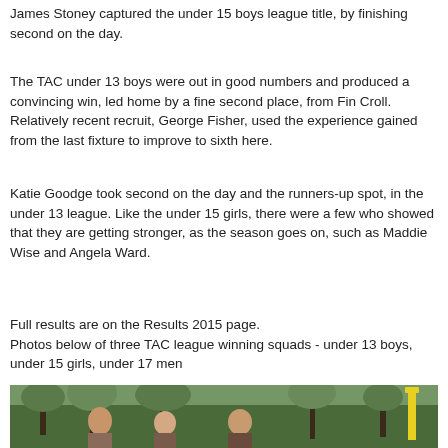James Stoney captured the under 15 boys league title, by finishing second on the day.
The TAC under 13 boys were out in good numbers and produced a convincing win, led home by a fine second place, from Fin Croll. Relatively recent recruit, George Fisher, used the experience gained from the last fixture to improve to sixth here.
Katie Goodge took second on the day and the runners-up spot, in the under 13 league. Like the under 15 girls, there were a few who showed that they are getting stronger, as the season goes on, such as Maddie Wise and Angela Ward.
Full results are on the Results 2015 page.
Photos below of three TAC league winning squads - under 13 boys, under 15 girls, under 17 men
[Figure (photo): Group photo of TAC league winning squad members outdoors among trees]